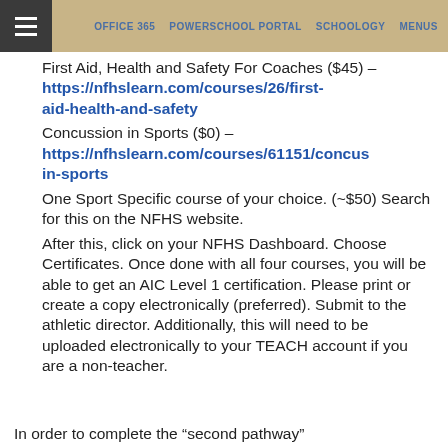OFFICE 365 | POWERSCHOOL PORTAL | SCHOOLOGY | MENUS
First Aid, Health and Safety For Coaches ($45) – https://nfhslearn.com/courses/26/first-aid-health-and-safety
Concussion in Sports ($0) – https://nfhslearn.com/courses/61151/concus in-sports
One Sport Specific course of your choice. (~$50) Search for this on the NFHS website.
After this, click on your NFHS Dashboard. Choose Certificates. Once done with all four courses, you will be able to get an AIC Level 1 certification. Please print or create a copy electronically (preferred). Submit to the athletic director. Additionally, this will need to be uploaded electronically to your TEACH account if you are a non-teacher.
In order to complete the “second pathway”